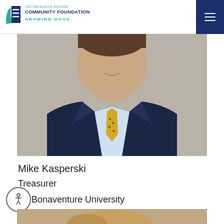CATTARAUGUS REGION COMMUNITY FOUNDATION GROWING GOOD.
[Figure (photo): Headshot of Mike Kasperski, a man in a dark navy suit and light blue shirt with a gold patterned tie, smiling, set against a neutral grey background.]
Mike Kasperski
Treasurer
St. Bonaventure University
[Figure (photo): Partial bottom strip showing top of another person's hair — beginning of next profile photo.]